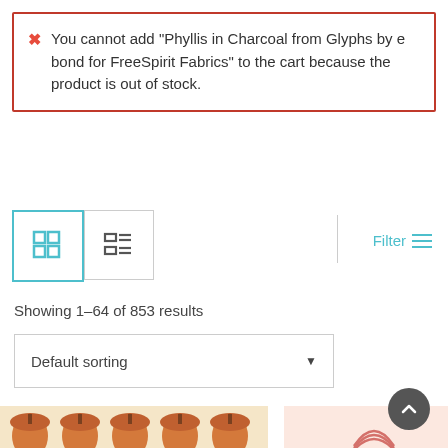You cannot add "Phyllis in Charcoal from Glyphs by e bond for FreeSpirit Fabrics" to the cart because the product is out of stock.
[Figure (screenshot): View toggle buttons: grid view (active, teal border) and list view]
Filter
Showing 1-64 of 853 results
Default sorting
[Figure (photo): Fabric pattern with repeating acorn motifs in orange/brown on cream background]
[Figure (photo): Fabric pattern with pink rainbow and celestial motifs on light pink background]